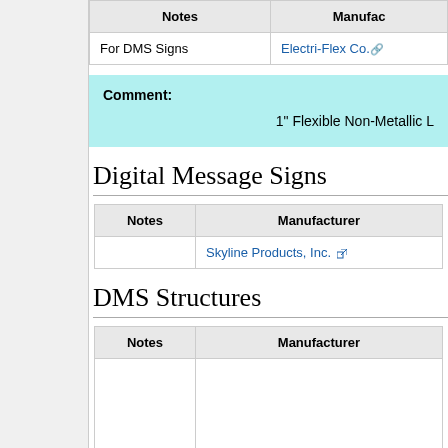| Notes | Manufacturer |
| --- | --- |
| For DMS Signs | Electri-Flex Co. |
Comment: 1" Flexible Non-Metallic L
Digital Message Signs
| Notes | Manufacturer |
| --- | --- |
|  | Skyline Products, Inc. |
DMS Structures
| Notes | Manufacturer |
| --- | --- |
|  | Steve Johnson Companies |